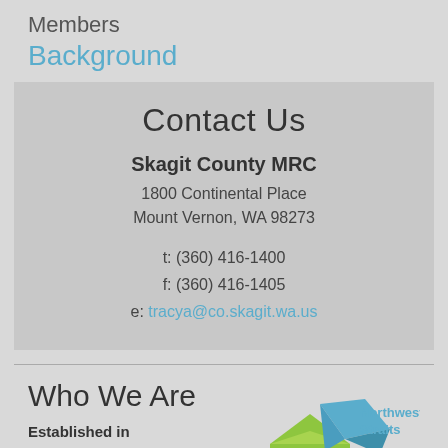Members
Background
Contact Us
Skagit County MRC
1800 Continental Place
Mount Vernon, WA 98273

t: (360) 416-1400
f: (360) 416-1405
e: tracya@co.skagit.wa.us
Who We Are
Established in 1999, the Skagit
[Figure (logo): Northwest Straits logo with origami-style bird and envelope icons in blue and yellow-green]